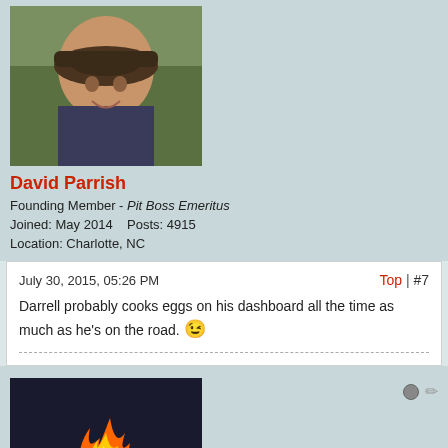[Figure (photo): Profile photo of David Parrish, a man wearing a baseball cap outdoors]
David Parrish
Founding Member - Pit Boss Emeritus
Joined: May 2014    Posts: 4915
Location: Charlotte, NC
July 30, 2015, 05:26 PM
Top | #7
Darrell probably cooks eggs on his dashboard all the time as much as he's on the road. 😉
[Figure (photo): Avatar image showing fire/flames in a grill or firepit]
DWCowles
Founding Member